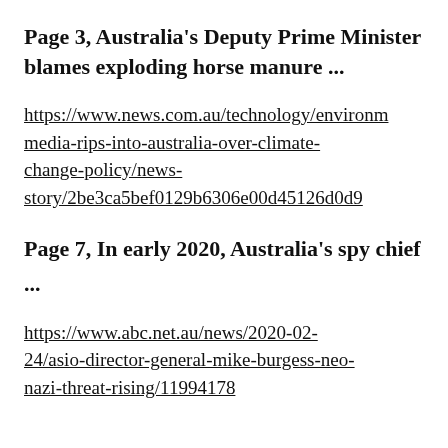Page 3, Australia's Deputy Prime Minister blames exploding horse manure ...
https://www.news.com.au/technology/environment/media-rips-into-australia-over-climate-change-policy/news-story/2be3ca5bef0129b6306e00d45126d0d9
Page 7, In early 2020, Australia's spy chief ...
https://www.abc.net.au/news/2020-02-24/asio-director-general-mike-burgess-neo-nazi-threat-rising/11994178